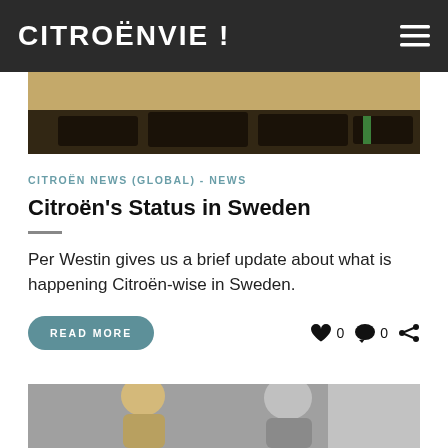CITROËNVIE !
[Figure (photo): A partial view of vehicles on sandy/gravel ground, dark silhouettes of cars visible]
CITROËN NEWS (GLOBAL) - NEWS
Citroën's Status in Sweden
Per Westin gives us a brief update about what is happening Citroën-wise in Sweden.
[Figure (photo): Bottom portion of a second article image showing two people (partial, cropped)]